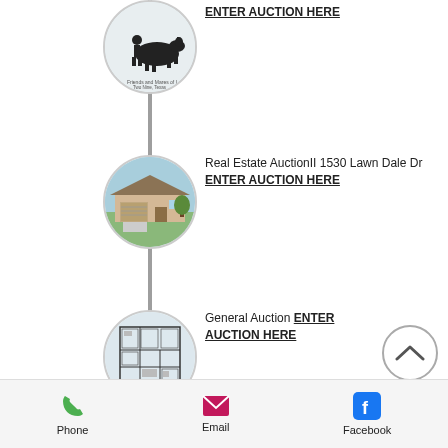[Figure (illustration): Circular image with silhouette of person with horse, text reads 'ENTER AUCTION HERE' underlined to the right]
ENTER AUCTION HERE
[Figure (photo): Circular photo of a suburban ranch-style house with garage]
Real Estate AuctionII 1530 Lawn Dale Dr ENTER AUCTION HERE
[Figure (illustration): Circular image with floor plan / blueprint illustration]
General Auction ENTER AUCTION HERE
[Figure (infographic): Bottom navigation bar with Phone, Email, Facebook icons]